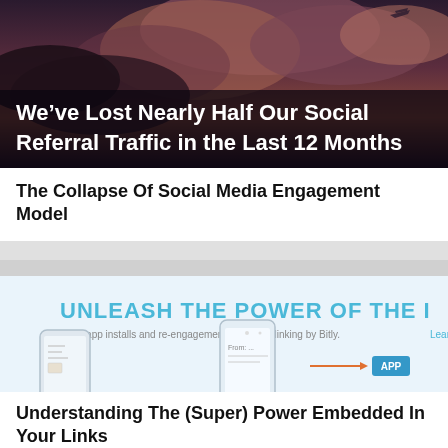[Figure (photo): Dark dramatic sky with clouds and silhouette of airplane, with white bold text overlay reading 'We've Lost Nearly Half Our Social Referral Traffic in the Last 12 Months']
The Collapse Of Social Media Engagement Model
[Figure (screenshot): Light blue advertisement banner showing 'UNLEASH THE POWER OF THE I' with text 'Drive app installs and re-engagement with deep linking by Bitly. Learn Mo...' and a smartphone illustration with arrow pointing to APP button]
Understanding The (Super) Power Embedded In Your Links